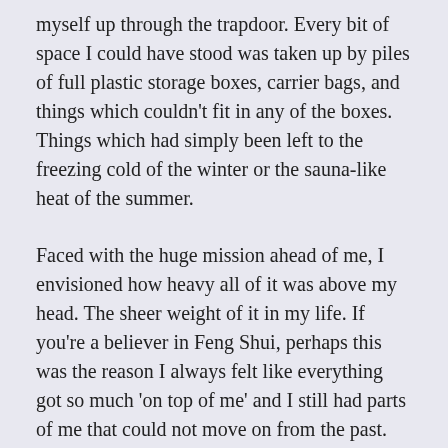myself up through the trapdoor. Every bit of space I could have stood was taken up by piles of full plastic storage boxes, carrier bags, and things which couldn't fit in any of the boxes. Things which had simply been left to the freezing cold of the winter or the sauna-like heat of the summer.
Faced with the huge mission ahead of me, I envisioned how heavy all of it was above my head. The sheer weight of it in my life. If you're a believer in Feng Shui, perhaps this was the reason I always felt like everything got so much 'on top of me' and I still had parts of me that could not move on from the past.
I had made a decluttering attempt of the attic once before and did actually clear some space, but it soon became even worse than before, because I didn't have a vision and was still clinging on to a lot of my past. It was as if the mess was mirroring part of my inner self, and